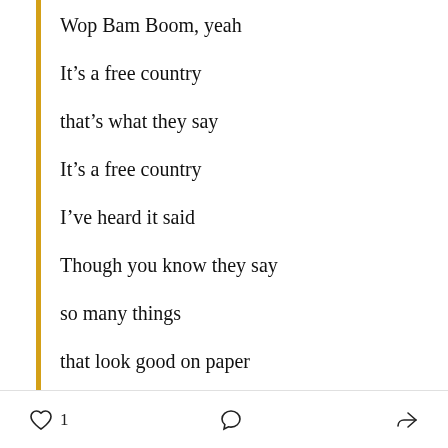Wop Bam Boom, yeah
It’s a free country
that’s what they say
It’s a free country
I’ve heard it said
Though you know they say
so many things
that look good on paper
but they don’t mean
1